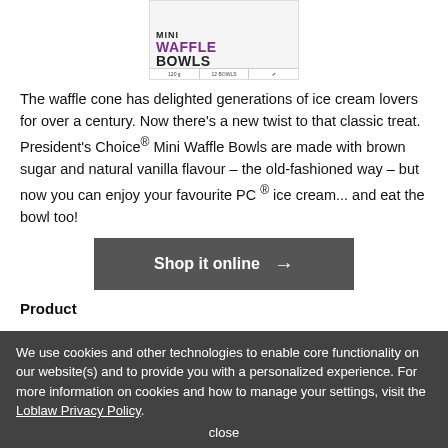[Figure (photo): Product image of President's Choice Mini Waffle Bowls box, 120g, 12 bowls]
The waffle cone has delighted generations of ice cream lovers for over a century. Now there's a new twist to that classic treat. President's Choice® Mini Waffle Bowls are made with brown sugar and natural vanilla flavour – the old-fashioned way – but now you can enjoy your favourite PC ® ice cream... and eat the bowl too!
[Figure (other): Shop it online button with arrow]
Product
We use cookies and other technologies to enable core functionality on our website(s) and to provide you with a personalized experience. For more information on cookies and how to manage your settings, visit the Loblaw Privacy Policy.
close